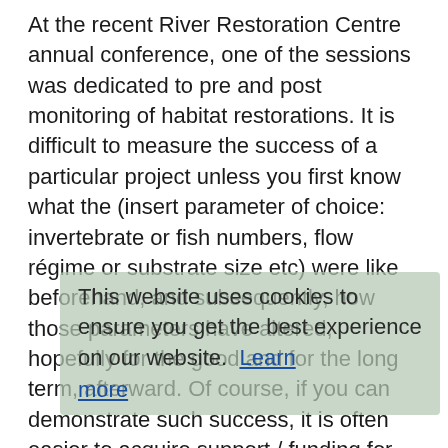At the recent River Restoration Centre annual conference, one of the sessions was dedicated to pre and post monitoring of habitat restorations. It is difficult to measure the success of a particular project unless you first know what the (insert parameter of choice: invertebrate or fish numbers, flow régime or substrate size etc) were like beforehand, and subsequently, how those parameters have altered, hopefully for the good and for the long term, afterward. Of course, if you can demonstrate such success, it is often easier to acquire support / funding for similar ventures in the future. The trouble is, what may work on one river, may not be so effective on another, and most studies only focus on whether restoration has worked on one system. That is why we were very interested to read a study comparing 16 Estonian rivers that were monitored for the management and conservation of our beloved brown trout. The work was recently published in Conservation Biology. Several very clear messages emerge that resonate very strongly with the work of the WTT.
This website uses cookies to ensure you get the best experience on our website. Learn more